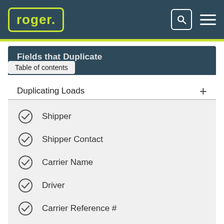[Figure (logo): Roger logo in lime green on dark teal header bar with search icon and hamburger menu]
Fields that Duplicate
Table of contents
Duplicating Loads +
Shipper
Shipper Contact
Carrier Name
Driver
Carrier Reference #
# of Loads